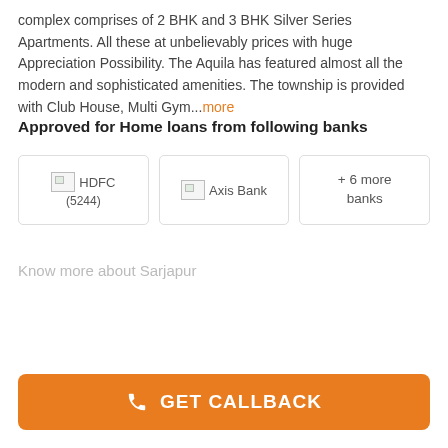complex comprises of 2 BHK and 3 BHK Silver Series Apartments. All these at unbelievably prices with huge Appreciation Possibility. The Aquila has featured almost all the modern and sophisticated amenities. The township is provided with Club House, Multi Gym...more
Approved for Home loans from following banks
[Figure (other): Three bank logo cards: HDFC (5244), Axis Bank, and + 6 more banks]
Know more about Sarjapur
GET CALLBACK